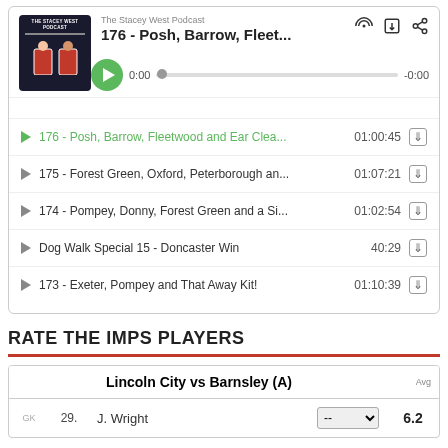[Figure (screenshot): Podcast player widget showing The Stacey West Podcast with episode list. Episode 176 Posh Barrow Fleetwood and Ear Clea... playing at 0:00, duration -0:00. List includes episodes 176, 175, 174, Dog Walk Special 15, and 173 with play buttons and download icons.]
RATE THE IMPS PLAYERS
|  |  | Lincoln City vs Barnsley (A) |  | Avg |
| --- | --- | --- | --- | --- |
| GK | 29. | J. Wright | -- | 6.2 |